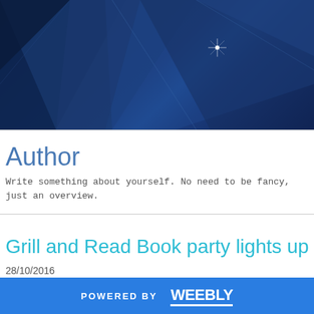[Figure (illustration): Dark blue geometric/polygon hero banner with angular shapes and light glare/sparkle effect in the upper-right area]
Author
Write something about yourself. No need to be fancy, just an overview.
Grill and Read Book party lights up
28/10/2016
[Figure (photo): Partial photo strip with warm golden/tan tones, partially visible at bottom of page]
POWERED BY weebly